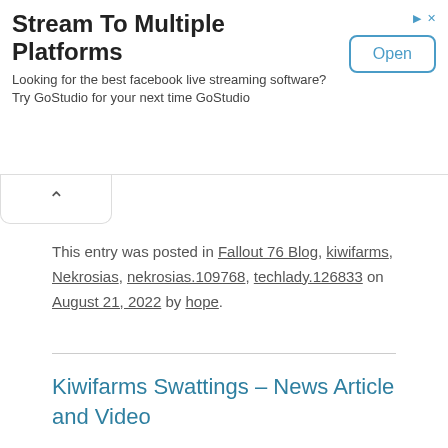[Figure (other): Advertisement banner: 'Stream To Multiple Platforms' with tagline 'Looking for the best facebook live streaming software? Try GoStudio for your next time GoStudio' and an 'Open' button, plus ad icons (triangle/arrow and X) in top right.]
This entry was posted in Fallout 76 Blog, kiwifarms, Nekrosias, nekrosias.109768, techlady.126833 on August 21, 2022 by hope.
Kiwifarms Swattings – News Article and Video